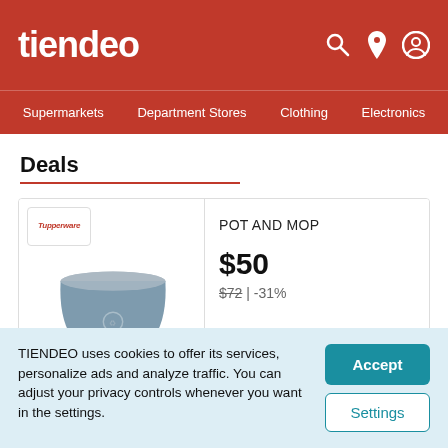tiendeo
Supermarkets  Department Stores  Clothing  Electronics
Deals
[Figure (photo): Product image of a grey pot/bucket and a blue cleaning cloth/mop with Tupperware brand logo and Recycle label]
POT AND MOP
$50
$72 | -31%
TIENDEO uses cookies to offer its services, personalize ads and analyze traffic. You can adjust your privacy controls whenever you want in the settings.